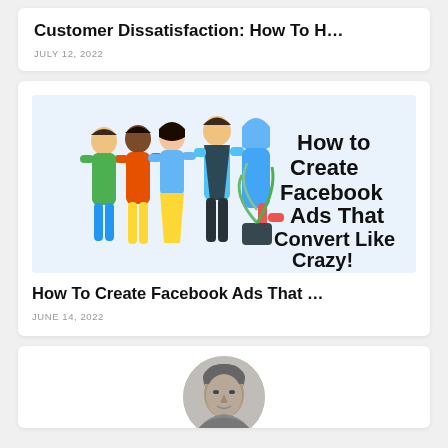Customer Dissatisfaction: How To H…
JULY 12, 2022
[Figure (illustration): Illustration of a diverse group of five people standing together with text overlay 'How to Create Facebook Ads That Convert Like Crazy!' and decorative blue X marks below]
How To Create Facebook Ads That …
JUNE 14, 2022
[Figure (photo): Circular cropped black and white portrait photo of a person]